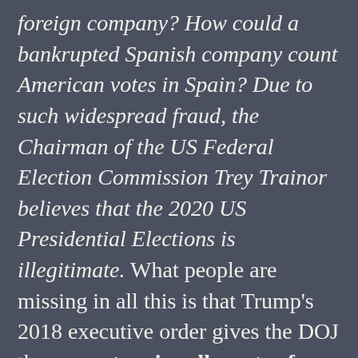foreign company? How could a bankrupted Spanish company count American votes in Spain? Due to such widespread fraud, the Chairman of the US Federal Election Commission Trey Trainor believes that the 2020 US Presidential Elections is illegitimate. What people are missing in all this is that Trump's 2018 executive order gives the DOJ the power to seize all assets of individuals and companies that were complicit in aiding or covering up this foreign interference in U.S. elections. The National